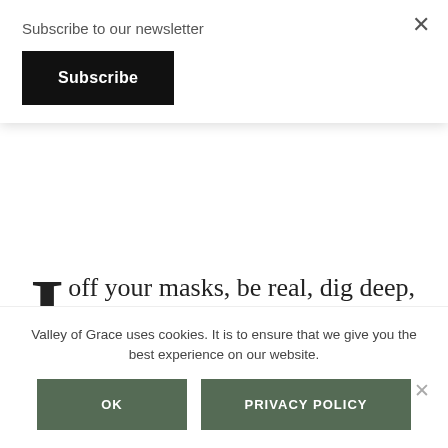Subscribe to our newsletter
Subscribe
off your masks, be real, dig deep, embrace your hair and skin color, release your emotions, and reveal your true identity and worth as a black woman, then watch Part 3 of this candid interview between Kyona Robinson and...
Valley of Grace uses cookies. It is to ensure that we give you the best experience on our website.
OK
PRIVACY POLICY